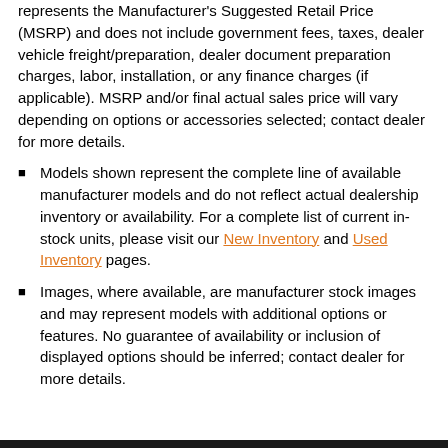represents the Manufacturer's Suggested Retail Price (MSRP) and does not include government fees, taxes, dealer vehicle freight/preparation, dealer document preparation charges, labor, installation, or any finance charges (if applicable). MSRP and/or final actual sales price will vary depending on options or accessories selected; contact dealer for more details.
Models shown represent the complete line of available manufacturer models and do not reflect actual dealership inventory or availability. For a complete list of current in-stock units, please visit our New Inventory and Used Inventory pages.
Images, where available, are manufacturer stock images and may represent models with additional options or features. No guarantee of availability or inclusion of displayed options should be inferred; contact dealer for more details.